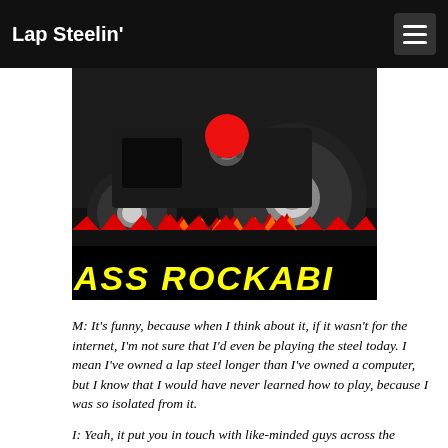Lap Steelin'
[Figure (illustration): Hot rod / rockabilly car artwork showing a dark vintage hot rod vehicle with large rear tires, flame decorations, and yellow text reading 'ASS ROCKABI' (cropped) on a black banner at the bottom]
M: It's funny, because when I think about it, if it wasn't for the internet, I'm not sure that I'd even be playing the steel today. I mean I've owned a lap steel longer than I've owned a computer, but I know that I would have never learned how to play, because I was so isolated from it.
I: Yeah, it put you in touch with like-minded guys across the